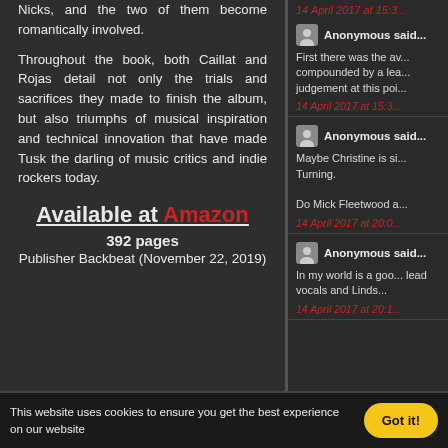Nicks, and the two of them become romantically involved.
Throughout the book, both Caillat and Rojas detail not only the trials and sacrifices they made to finish the album, but also triumphs of musical inspiration and technical innovation that have made Tusk the darling of music critics and indie rockers today.
Available at Amazon
392 pages
Publisher Backbeat (November 22, 2019)
14 April 2017 at 15:3...
Anonymous said...
First there was the av... compounded by a lea... judgement at this poi...
14 April 2017 at 15:3...
Anonymous said...
Maybe Christine is si... Turning.

Do Mick Fleetwood a...
14 April 2017 at 20:0...
Anonymous said...
In my world is a goo... lead vocals and Linds...
14 April 2017 at 20:1...
This website uses cookies to ensure you get the best experience on our website